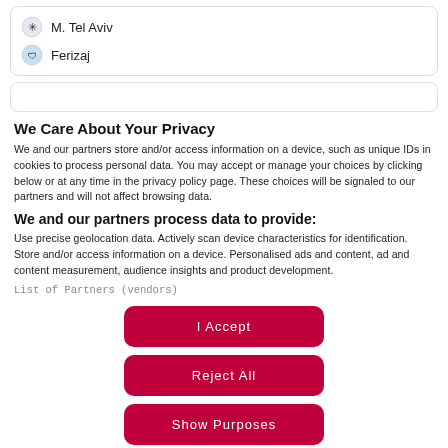M. Tel Aviv
Ferizaj
We Care About Your Privacy
We and our partners store and/or access information on a device, such as unique IDs in cookies to process personal data. You may accept or manage your choices by clicking below or at any time in the privacy policy page. These choices will be signaled to our partners and will not affect browsing data.
We and our partners process data to provide:
Use precise geolocation data. Actively scan device characteristics for identification. Store and/or access information on a device. Personalised ads and content, ad and content measurement, audience insights and product development.
List of Partners (vendors)
I Accept
Reject All
Show Purposes